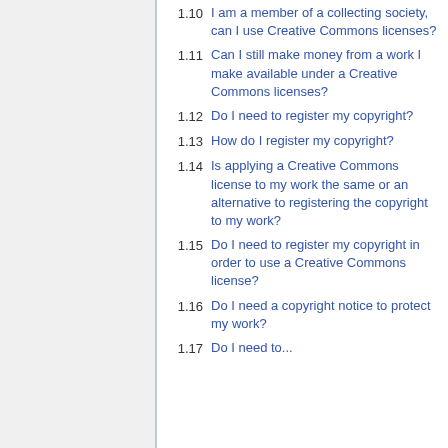1.10 I am a member of a collecting society, can I use Creative Commons licenses?
1.11 Can I still make money from a work I make available under a Creative Commons licenses?
1.12 Do I need to register my copyright?
1.13 How do I register my copyright?
1.14 Is applying a Creative Commons license to my work the same or an alternative to registering the copyright to my work?
1.15 Do I need to register my copyright in order to use a Creative Commons license?
1.16 Do I need a copyright notice to protect my work?
1.17 Do I need to...